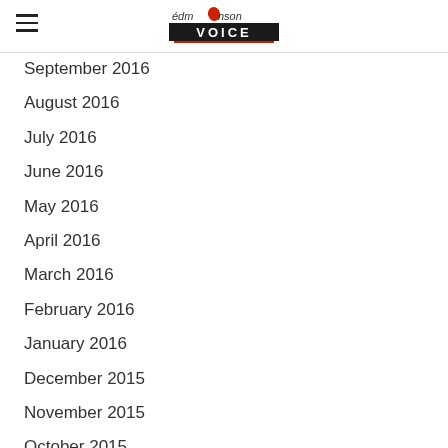Edmonson Voice
September 2016
August 2016
July 2016
June 2016
May 2016
April 2016
March 2016
February 2016
January 2016
December 2015
November 2015
October 2015
September 2015
August 2015
July 2015
June 2015
May 2015
April 2015